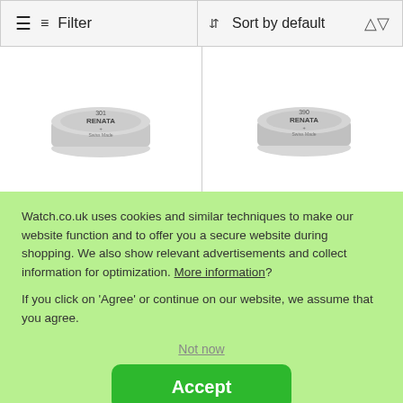Filter
Sort by default
[Figure (photo): Renata watch battery (coin cell) - left product]
[Figure (photo): Renata watch battery (coin cell) - right product]
Watch.co.uk uses cookies and similar techniques to make our website function and to offer you a secure website during shopping. We also show relevant advertisements and collect information for optimization. More information?
If you click on 'Agree' or continue on our website, we assume that you agree.
Not now
Accept